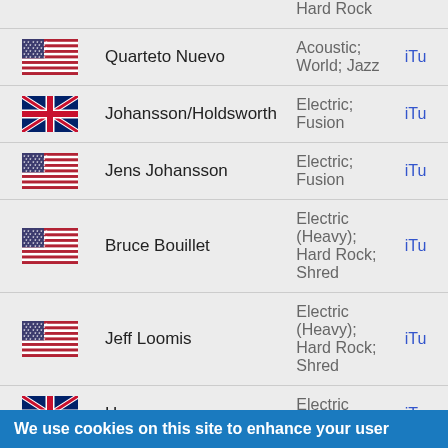| Flag | Artist | Genre | Link |
| --- | --- | --- | --- |
| US | Quarteto Nuevo | Acoustic; World; Jazz | iTu |
| UK | Johansson/Holdsworth | Electric; Fusion | iTu |
| US | Jens Johansson | Electric; Fusion | iTu |
| US | Bruce Bouillet | Electric (Heavy); Hard Rock; Shred | iTu |
| US | Jeff Loomis | Electric (Heavy); Hard Rock; Shred | iTu |
| UK | Hoax | Electric (Heavy); | iTu |
We use cookies on this site to enhance your user